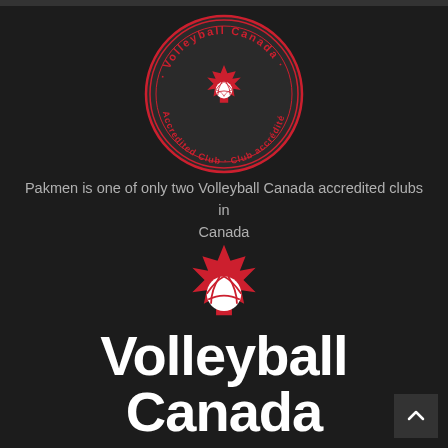[Figure (logo): Volleyball Canada Accredited Club circular badge/seal — red circle outline with text 'Volleyball Canada' at top and 'Accredited Club · Club accrédité' at bottom, with a red maple leaf and volleyball icon in the center]
Pakmen is one of only two Volleyball Canada accredited clubs in Canada
[Figure (logo): Volleyball Canada logo — red maple leaf with a white volleyball overlaid at the bottom center of the leaf]
Volleyball Canada Excellence